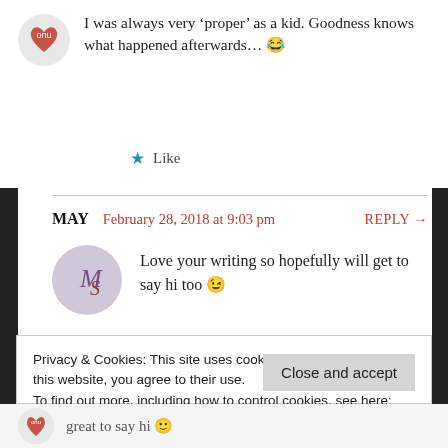I was always very ‘proper’ as a kid. Goodness knows what happened afterwards... 😂
★ Like
MAY  February 28, 2018 at 9:03 pm  REPLY →
Love your writing so hopefully will get to say hi too 😉
Privacy & Cookies: This site uses cookies. By continuing to use this website, you agree to their use.
To find out more, including how to control cookies, see here: Our Cookie Policy
Close and accept
great to say hi 😐